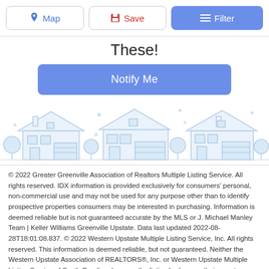Map | Save | Filter
These!
Notify Me
[Figure (illustration): Light blue outline illustration of a row of suburban houses with garages and trees]
© 2022 Greater Greenville Association of Realtors Multiple Listing Service. All rights reserved. IDX information is provided exclusively for consumers' personal, non-commercial use and may not be used for any purpose other than to identify prospective properties consumers may be interested in purchasing. Information is deemed reliable but is not guaranteed accurate by the MLS or J. Michael Manley Team | Keller Williams Greenville Upstate. Data last updated 2022-08-28T18:01:08.837. © 2022 Western Upstate Multiple Listing Service, Inc. All rights reserved. This information is deemed reliable, but not guaranteed. Neither the Western Upstate Association of REALTORS®, Inc. or Western Upstate Multiple Listing Service of South Carolina, Inc., nor the listing broker, nor their agents or